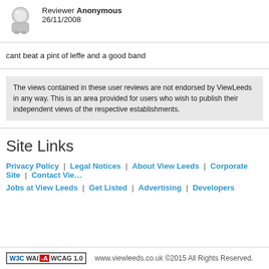Reviewer Anonymous
26/11/2008
cant beat a pint of leffe and a good band
The views contained in these user reviews are not endorsed by ViewLeeds in any way. This is an area provided for users who wish to publish their independent views of the respective establishments.
Site Links
Privacy Policy | Legal Notices | About View Leeds | Corporate Site | Contact ViewLeeds
Jobs at View Leeds | Get Listed | Advertising | Developers
W3C WAI -A WCAG 1.0   www.viewleeds.co.uk ©2015 All Rights Reserved.